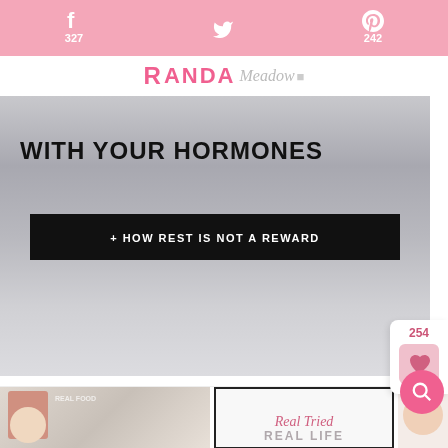f 327  [twitter] 242
[Figure (screenshot): Blog website header with pink social share bar showing Facebook 327 and Pinterest 242 counts, brand logo RANDA in pink with script overlay, hero image with text WITH YOUR HORMONES and + HOW REST IS NOT A REWARD on dark background, save widget with 254 count and heart icon, pink search button]
How Your Hormones Help Avoid or Reverse Burnout
[Figure (screenshot): Bottom strip showing two partial images: left image with person and text partially visible, right image showing laptop with Real Tried Real Life branding in pink script]